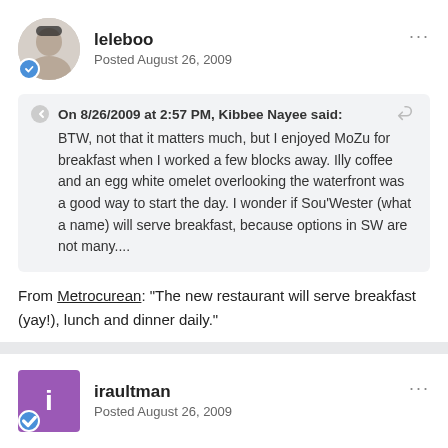leleboo — Posted August 26, 2009
On 8/26/2009 at 2:57 PM, Kibbee Nayee said:
BTW, not that it matters much, but I enjoyed MoZu for breakfast when I worked a few blocks away. Illy coffee and an egg white omelet overlooking the waterfront was a good way to start the day. I wonder if Sou'Wester (what a name) will serve breakfast, because options in SW are not many....
From Metrocurean: "The new restaurant will serve breakfast (yay!), lunch and dinner daily."
iraultman — Posted August 26, 2009